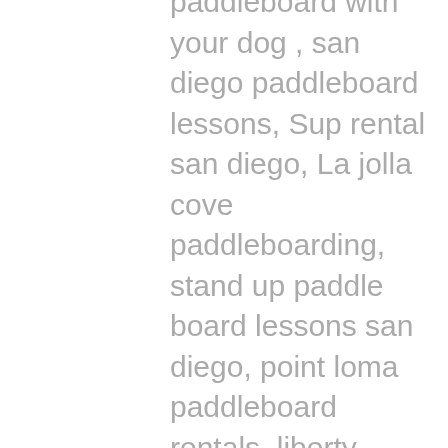paddleboard with your dog , san diego paddleboard lessons, Sup rental san diego, La jolla cove paddleboarding, stand up paddle board lessons san diego, point loma paddleboard rentals, liberty station sup rentals, Sup rentals near me, sup rentals, sweetwater sup rentals, sup classes, sup classes near me, best sup classes in san diego, sup rentals in san diego, where to find sup rentals in san diego, sup boarding near me, best sup boarding alternatives near me, sup lessons, sup paddling in san diego, best sup paddling classes in san diego, paddling lessons, sup boarding, sup lessons, classes sociales sup, paddling socials sup, sup socials in San Diego, sup